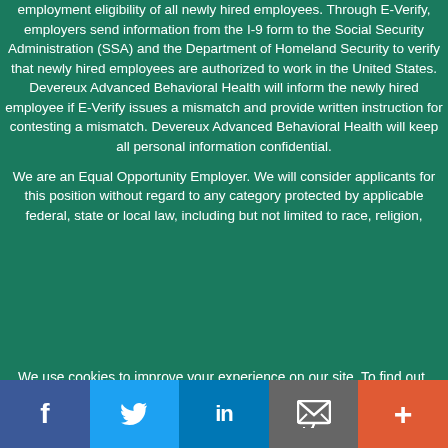employment eligibility of all newly hired employees. Through E-Verify, employers send information from the I-9 form to the Social Security Administration (SSA) and the Department of Homeland Security to verify that newly hired employees are authorized to work in the United States. Devereux Advanced Behavioral Health will inform the newly hired employee if E-Verify issues a mismatch and provide written instruction for contesting a mismatch. Devereux Advanced Behavioral Health will keep all personal information confidential.
We are an Equal Opportunity Employer. We will consider applicants for this position without regard to any category protected by applicable federal, state or local law, including but not limited to race, religion,
We use cookies to improve your experience on our site. To find out more, read our privacy policy.
[Figure (infographic): Social media sharing bar with Facebook, Twitter, LinkedIn, Email, and More (+) buttons]